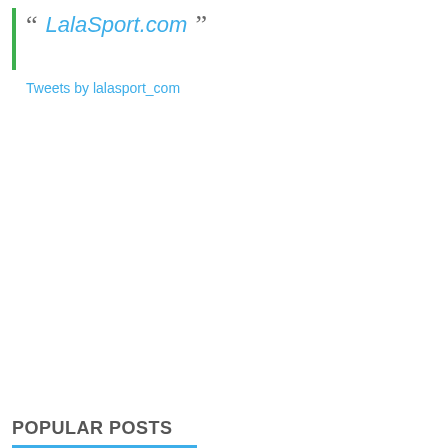“ LalaSport.com ”
Tweets by lalasport_com
POPULAR POSTS